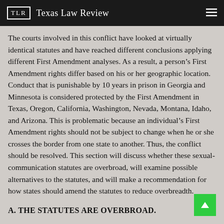TLR Texas Law Review
The courts involved in this conflict have looked at virtually identical statutes and have reached different conclusions applying different First Amendment analyses. As a result, a person’s First Amendment rights differ based on his or her geographic location. Conduct that is punishable by 10 years in prison in Georgia and Minnesota is considered protected by the First Amendment in Texas, Oregon, California, Washington, Nevada, Montana, Idaho, and Arizona. This is problematic because an individual’s First Amendment rights should not be subject to change when he or she crosses the border from one state to another. Thus, the conflict should be resolved. This section will discuss whether these sexual-communication statutes are overbroad, will examine possible alternatives to the statutes, and will make a recommendation for how states should amend the statutes to reduce overbreadth.
A. THE STATUTES ARE OVERBROAD.